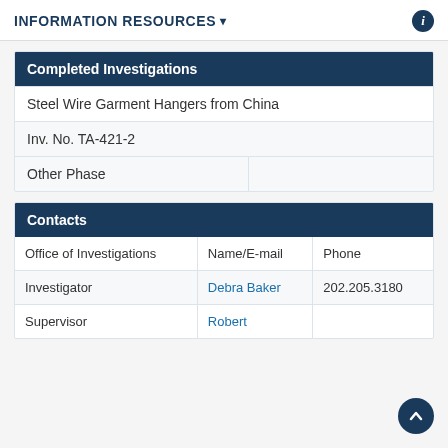INFORMATION RESOURCES
| Completed Investigations |
| --- |
| Steel Wire Garment Hangers from China |
| Inv. No. TA-421-2 |
| Other Phase |  |
| Contacts |  |  |
| --- | --- | --- |
| Office of Investigations | Name/E-mail | Phone |
| Investigator | Debra Baker | 202.205.3180 |
| Supervisor | Robert |  |